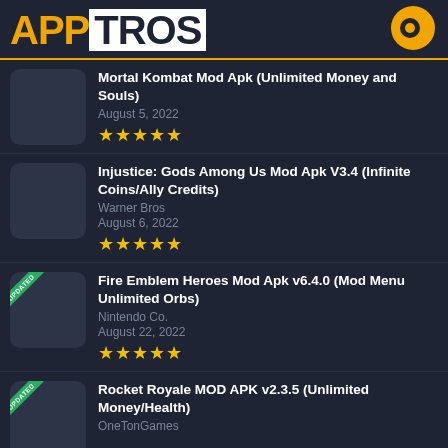APPTROS
Mortal Kombat Mod Apk (Unlimited Money and Souls) — August 5, 2022 — ★★★★★
Injustice: Gods Among Us Mod Apk V3.4 (Infinite Coins/Ally Credits) — Warner Bros — August 6, 2022 — ★★★★★
Fire Emblem Heroes Mod Apk v6.4.0 (Mod Menu Unlimited Orbs) — Nintendo Co. — August 22, 2022 — ★★★★★
Rocket Royale MOD APK v2.3.5 (Unlimited Money/Health) — OneTonGames